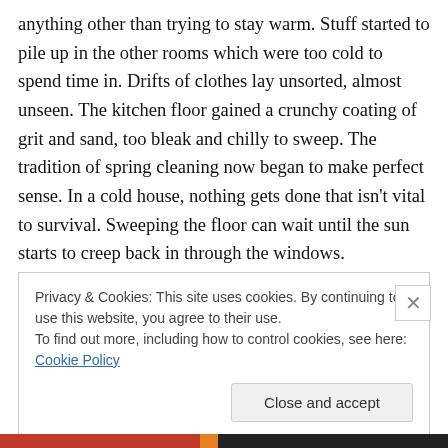anything other than trying to stay warm. Stuff started to pile up in the other rooms which were too cold to spend time in. Drifts of clothes lay unsorted, almost unseen. The kitchen floor gained a crunchy coating of grit and sand, too bleak and chilly to sweep. The tradition of spring cleaning now began to make perfect sense. In a cold house, nothing gets done that isn't vital to survival. Sweeping the floor can wait until the sun starts to creep back in through the windows.
Privacy & Cookies: This site uses cookies. By continuing to use this website, you agree to their use. To find out more, including how to control cookies, see here: Cookie Policy
Close and accept